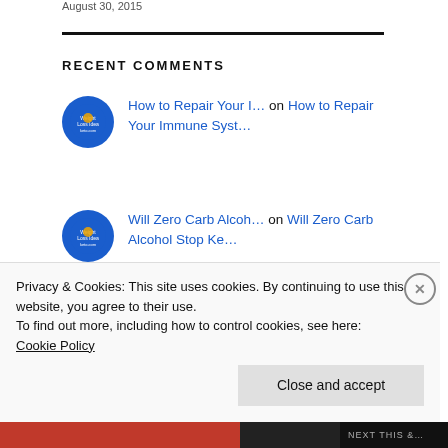August 30, 2015
RECENT COMMENTS
How to Repair Your I… on How to Repair Your Immune Syst…
Will Zero Carb Alcoh… on Will Zero Carb Alcohol Stop Ke…
(partially visible comment item)
Privacy & Cookies: This site uses cookies. By continuing to use this website, you agree to their use.
To find out more, including how to control cookies, see here:
Cookie Policy
Close and accept